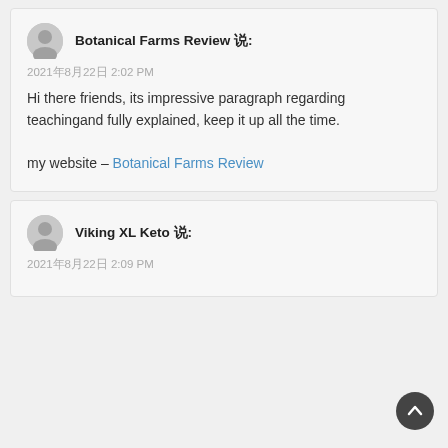Botanical Farms Review 说: 2021年8月22日 2:02 PM
Hi there friends, its impressive paragraph regarding teachingand fully explained, keep it up all the time.

my website – Botanical Farms Review
Viking XL Keto 说: 2021年8月22日 2:09 PM